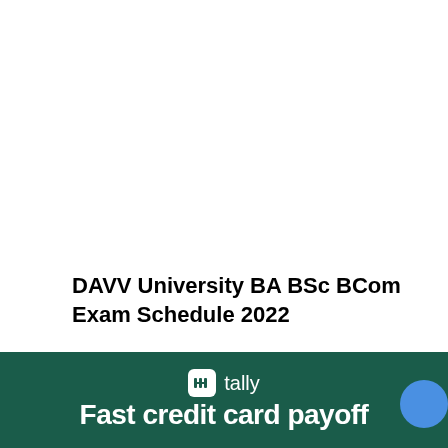DAVV University BA BSc BCom Exam Schedule 2022
| University | Devi Ahilya |
| Name | Vishwavidyalaya ... |
[Figure (infographic): Tally app advertisement banner with dark green background showing Tally logo and text 'Fast credit card payoff']